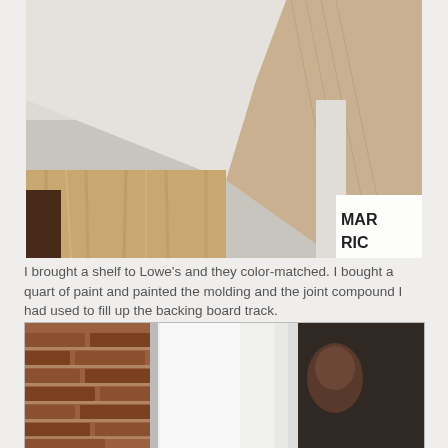[Figure (photo): Interior room photo showing wooden crown molding being installed at ceiling level, with beige curtains visible in the background and a partial sign reading 'MAR RIC' in the bottom right corner.]
I brought a shelf to Lowe's and they color-matched. I bought a quart of paint and painted the molding and the joint compound I had used to fill up the backing board track.
[Figure (photo): Photo showing a white/light colored cabinet or panel next to a brick wall, partially visible in a dark setting.]